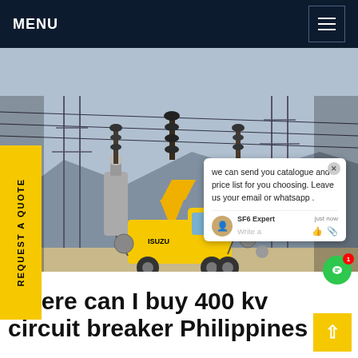MENU
[Figure (photo): Electrical substation with high-voltage equipment, insulators, overhead lines, and a yellow Isuzu utility truck parked in the yard. Industrial infrastructure used for power transmission.]
REQUEST A QUOTE
we can send you catalogue and price list for you choosing. Leave us your email or whatsapp .
SF6 Expert   just now
Write a
where can I buy 400 kv circuit breaker Philippines